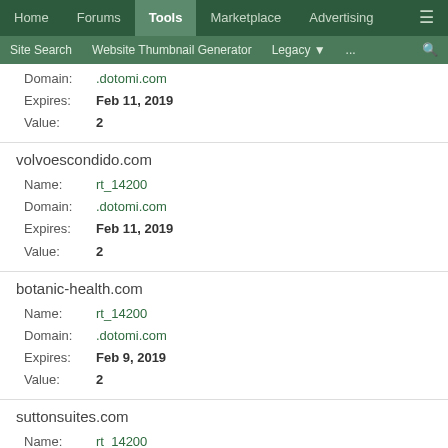Home | Forums | Tools | Marketplace | Advertising
Site Search | Website Thumbnail Generator | Legacy | ...
Domain: .dotomi.com
Expires: Feb 11, 2019
Value: 2
volvoescondido.com
Name: rt_14200
Domain: .dotomi.com
Expires: Feb 11, 2019
Value: 2
botanic-health.com
Name: rt_14200
Domain: .dotomi.com
Expires: Feb 9, 2019
Value: 2
suttonsuites.com
Name: rt_14200
Domain: .dotomi.com
Expires: Feb 8, 2019
Value: 2
set.tv